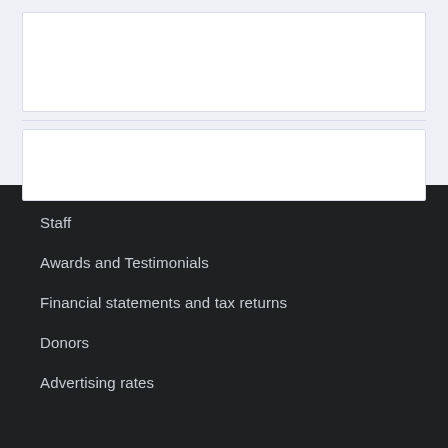Staff
Awards and Testimonials
Financial statements and tax returns
Donors
Advertising rates